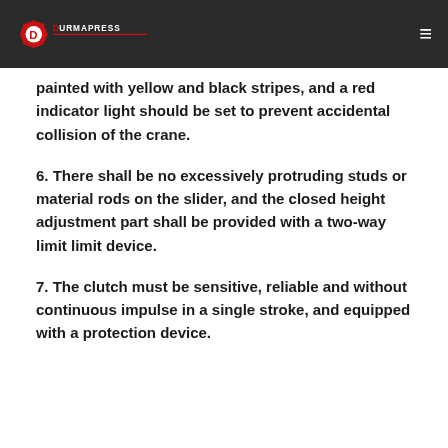DURMAPRESS
painted with yellow and black stripes, and a red indicator light should be set to prevent accidental collision of the crane.
6. There shall be no excessively protruding studs or material rods on the slider, and the closed height adjustment part shall be provided with a two-way limit limit device.
7. The clutch must be sensitive, reliable and without continuous impulse in a single stroke, and equipped with a protection device.